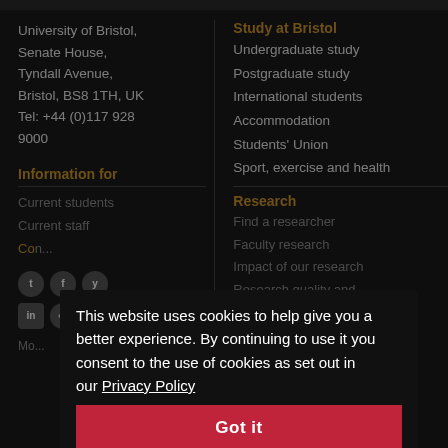University of Bristol,
Senate House,
Tyndall Avenue,
Bristol, BS8 1TH, UK
Tel: +44 (0)117 928 9000
Information for
Current students
Current staff
Co...
Study at Bristol
Undergraduate study
Postgraduate study
International students
Accommodation
Students' Union
Sport, exercise and health
Research
Find a researcher
Faculty research
Impact of our research
Research quality and assessment
Engaging with the public
This website uses cookies to help give you a better experience. By continuing to use it you consent to the use of cookies as set out in our Privacy Policy
Got it